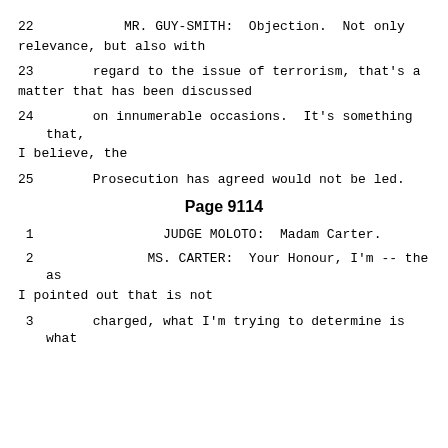22      MR. GUY-SMITH:  Objection.  Not only relevance, but also with
23      regard to the issue of terrorism, that's a matter that has been discussed
24      on innumerable occasions.  It's something that, I believe, the
25      Prosecution has agreed would not be led.
Page 9114
1               JUDGE MOLOTO:  Madam Carter.
2               MS. CARTER:  Your Honour, I'm -- the as I pointed out that is not
3       charged, what I'm trying to determine is what